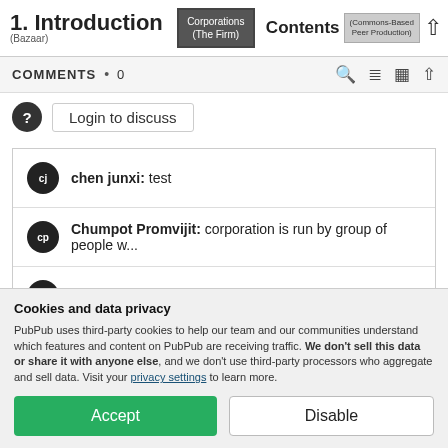1. Introduction (Bazaar) | Corporations (The Firm) | Contents | Commons-Based Peer Production
COMMENTS • 0
Login to discuss
chen junxi: test
Chumpot Promvijit: corporation is run by group of people w...
Gregory Marshall: problems
Gregory Marshall: that all?
Cookies and data privacy
PubPub uses third-party cookies to help our team and our communities understand which features and content on PubPub are receiving traffic. We don't sell this data or share it with anyone else, and we don't use third-party processors who aggregate and sell data. Visit your privacy settings to learn more.